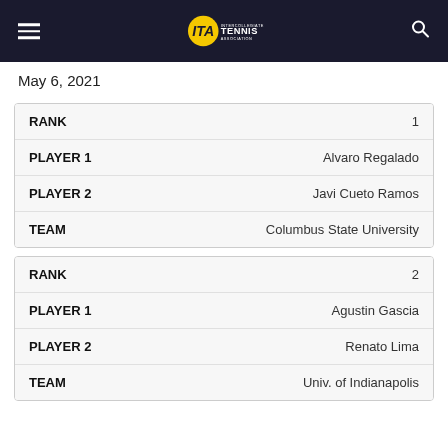ITA Intercollegiate Tennis Association
May 6, 2021
| Field | Value |
| --- | --- |
| RANK | 1 |
| PLAYER 1 | Alvaro Regalado |
| PLAYER 2 | Javi Cueto Ramos |
| TEAM | Columbus State University |
| Field | Value |
| --- | --- |
| RANK | 2 |
| PLAYER 1 | Agustin Gascia |
| PLAYER 2 | Renato Lima |
| TEAM | Univ. of Indianapolis |